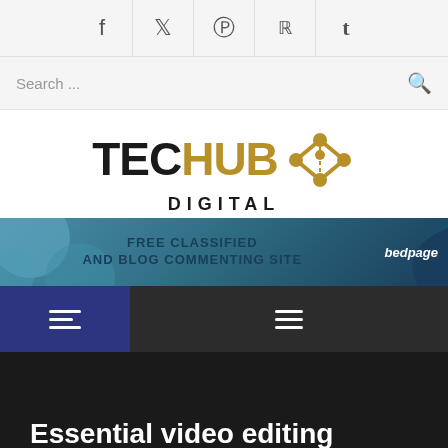Social share bar: f t p reddit t
Search ...
[Figure (logo): TecHub Digital logo with gold network/hub icon on the right side]
[Figure (infographic): Advertisement banner: FREE CLASSIFIED AND BLOG COMMENTING SITE — bedpage]
[Figure (screenshot): Navigation bar with two hamburger menu icons, left one on dark blue background]
Essential video editing tips everyone should